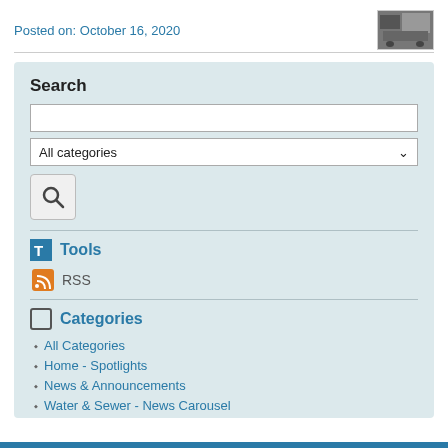Posted on: October 16, 2020
[Figure (photo): Small thumbnail image of machinery/equipment]
Search
All categories (dropdown)
Tools
RSS
Categories
All Categories
Home - Spotlights
News & Announcements
Water & Sewer - News Carousel